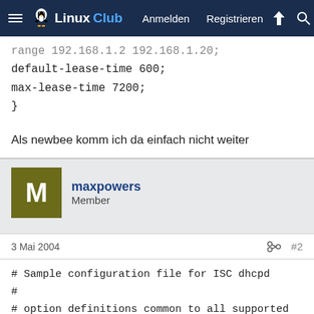Linux Club — Anmelden Registrieren
range 192.168.1.2 192.168.1.20;
default-lease-time 600;
max-lease-time 7200;
}
Als newbee komm ich da einfach nicht weiter
maxpowers
Member
3 Mai 2004  #2
# Sample configuration file for ISC dhcpd
#
# option definitions common to all supported networks...
option domain-name "example.org";
option domain-name-servers ns1.example.org,